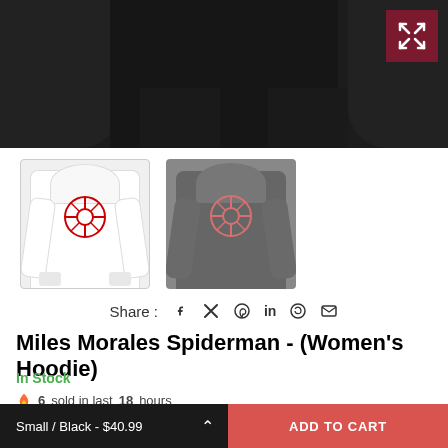[Figure (photo): Close-up of a person wearing a black hoodie against a dark background, with an expand/fullscreen button in the top-right corner (dark red background with X icon).]
[Figure (photo): Thumbnail of a white Miles Morales Spider-Man hoodie with red spider logo, worn by a model.]
[Figure (photo): Thumbnail of a dark gray Miles Morales Spider-Man hoodie with red spider logo, worn by a model.]
Share : f 𝕏 𝒫 in ⊙ ✉
Miles Morales Spiderman - (Women's Hoodie)
In Stock
🔥 6 sold in last 18 hours
$40.99
SIZE: SMALL  📋 SIZE CHART
Small / Black - $40.99  ∧
ADD TO CART